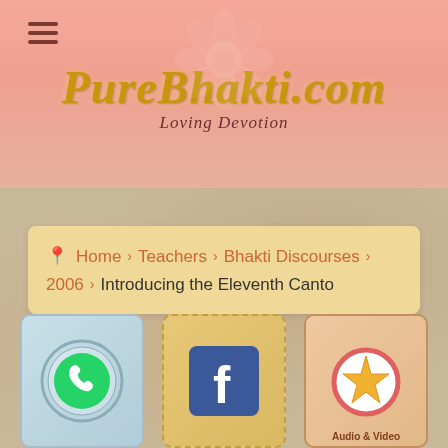[Figure (logo): PureBhakti.com logo with tagline 'Loving Devotion' on pink gradient background with hamburger menu icon]
Home › Teachers › Bhakti Discourses › 2006 › Introducing the Eleventh Canto
[Figure (illustration): Three icon cards at bottom: WhatsApp icon (green on blue card), Facebook icon (blue on tan card), and star/audio icon (gold star on peach card) with partial 'Audio &amp; Video' label]